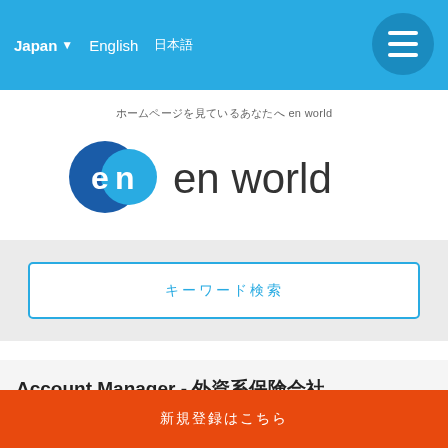Japan  English  日本語
ホームページを見ているあなたへ en world
[Figure (logo): en world logo — blue circle with 'en' in white text beside 'en world' in dark text]
キーワード検索
Account Manager - 外資系保険会社
東京都
〜550万円
新規登録はこちら